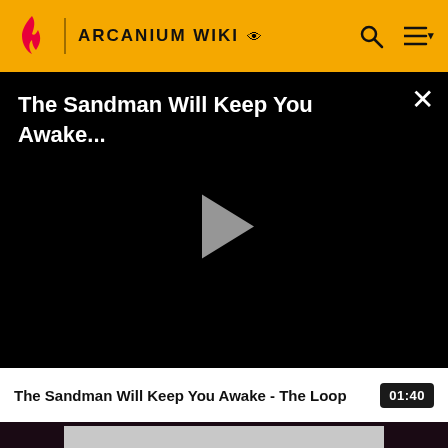ARCANIUM WIKI
[Figure (screenshot): Video player showing 'The Sandman Will Keep You Awake...' with a play button on black background and a close (X) button in top-right corner]
The Sandman Will Keep You Awake - The Loop  01:40
ADVERTISEMENT
Description